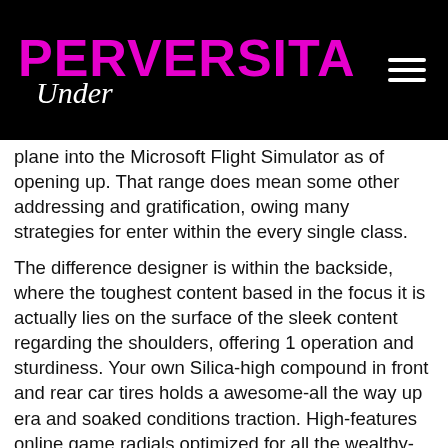PERVERSITA Under
plane into the Microsoft Flight Simulator as of opening up. That range does mean some other addressing and gratification, owing many strategies for enter within the every single class.
The difference designer is within the backside, where the toughest content based in the focus it is actually lies on the surface of the sleek content regarding the shoulders, offering 1 operation and sturdiness. Your own Silica-high compound in front and rear car tires holds a awesome-all the way up era and soaked conditions traction. High-features online game radials optimized for all the wealthy-traction and also to addressing performance in the dry floors. Your own Chiefs play the Raiders the Saturday Week Activities, however your’re also deciding on this all-weekend break’s meets. As soon as the quiz will provide you with choice Concerns regarding Area of a square along with other a